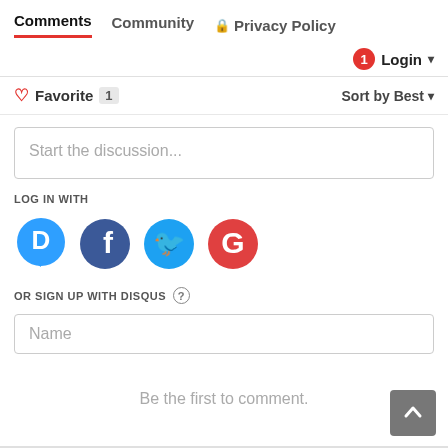Comments   Community   Privacy Policy
1  Login ▾
♡ Favorite 1   Sort by Best ▾
Start the discussion...
LOG IN WITH
[Figure (logo): Social login icons: Disqus (blue speech bubble with D), Facebook (dark blue circle with f), Twitter (light blue circle with bird), Google (red circle with G)]
OR SIGN UP WITH DISQUS ?
Name
Be the first to comment.